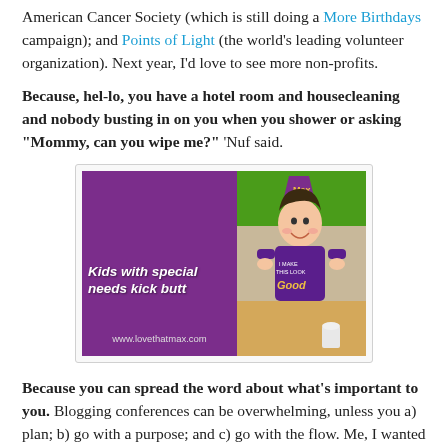American Cancer Society (which is still doing a More Birthdays campaign); and Points of Light (the world's leading volunteer organization). Next year, I'd love to see more non-profits.
Because, hel-lo, you have a hotel room and housecleaning and nobody busting in on you when you shower or asking "Mommy, can you wipe me?" 'Nuf said.
[Figure (photo): Promotional image with purple background on left side showing text 'Kids with special needs kick butt' and website 'www.lovethatmax.com'. Right side shows a smiling boy wearing a purple crown/hat and a purple t-shirt reading 'I make this look Good', seated at a table.]
Because you can spread the word about what's important to you. Blogging conferences can be overwhelming, unless you a) plan; b) go with a purpose; and c) go with the flow. Me, I wanted to hang with friends, meet